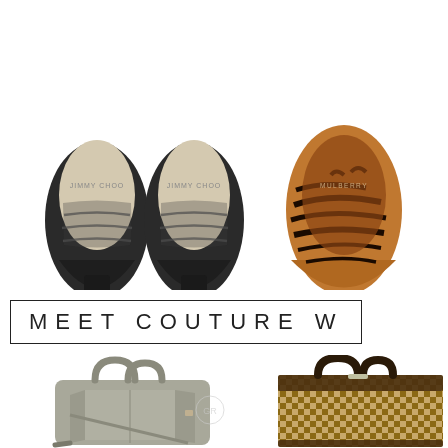[Figure (photo): Two black Jimmy Choo pointed-toe heels with mesh/sheer stripe detailing, viewed from above on white background, showing Jimmy Choo logo insoles]
[Figure (photo): Two Mulberry tiger-print pony-hair pointed flats with brown/black animal stripe pattern, viewed from above on white background, showing Mulberry branded insoles]
MEET COUTURE W
[Figure (photo): Grey leather Alexander Wang or similar structured handbag with top handles and shoulder strap, on white background, with circular GR watermark]
[Figure (photo): Louis Vuitton Damier Ebene check pattern large luggage bag with dark leather handles on white background]